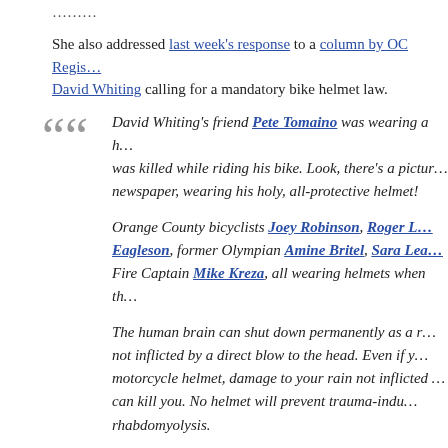………
She also addressed last week's response to a column by OC Register's David Whiting calling for a mandatory bike helmet law.
David Whiting's friend Pete Tomaino was wearing a helmet when he was killed while riding his bike. Look, there's a picture of him in the newspaper, wearing his holy, all-protective helmet!

Orange County bicyclists Joey Robinson, Roger L…, Eagleson, former Olympian Amine Britel, Sara Lea…, Fire Captain Mike Kreza, all wearing helmets when th…

The human brain can shut down permanently as a r… not inflicted by a direct blow to the head. Even if y… motorcycle helmet, damage to your rain not inflicted … can kill you. No helmet will prevent trauma-indu… rhabdomyolysis.
……….
And she ends on a personal note…